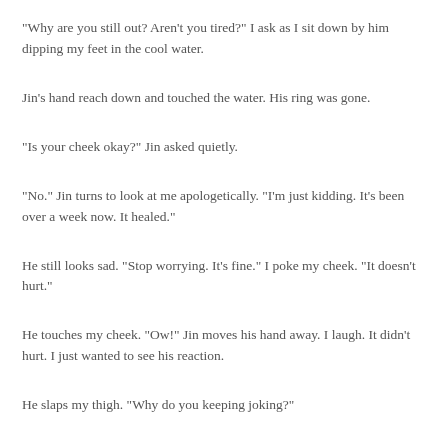"Why are you still out? Aren't you tired?" I ask as I sit down by him dipping my feet in the cool water.
Jin's hand reach down and touched the water. His ring was gone.
"Is your cheek okay?" Jin asked quietly.
"No." Jin turns to look at me apologetically. "I'm just kidding. It's been over a week now. It healed."
He still looks sad. "Stop worrying. It's fine." I poke my cheek. "It doesn't hurt."
He touches my cheek. "Ow!" Jin moves his hand away. I laugh. It didn't hurt. I just wanted to see his reaction.
He slaps my thigh. "Why do you keeping joking?"